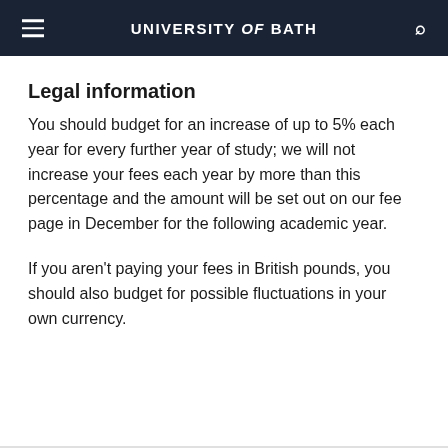UNIVERSITY of BATH
Legal information
You should budget for an increase of up to 5% each year for every further year of study; we will not increase your fees each year by more than this percentage and the amount will be set out on our fee page in December for the following academic year.
If you aren't paying your fees in British pounds, you should also budget for possible fluctuations in your own currency.